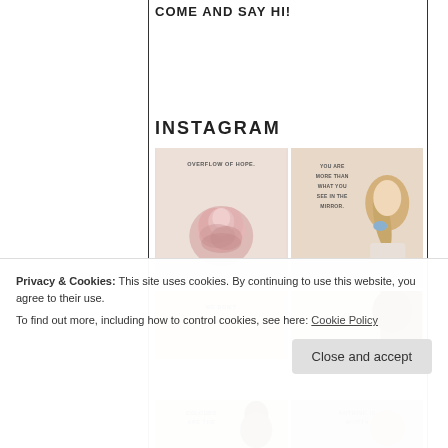COME AND SAY HI!
INSTAGRAM
[Figure (illustration): Instagram grid showing 4 inspirational quote images: top-left with a pink rose and text 'OVERFLOW OF HOPE.', top-right with a girl illustration and text 'YOU ARE MORE THAN WHAT YOU SEE IN THE MIRROR.', bottom-left partially showing 'WE DON'T', bottom-right showing cursive text partially visible. Below the cookie banner: two more images - 'COLOURS ARE THE' with a woman illustration, 'NOTHING IS WORTH' with a circular image.]
Privacy & Cookies: This site uses cookies. By continuing to use this website, you agree to their use.
To find out more, including how to control cookies, see here: Cookie Policy
Close and accept